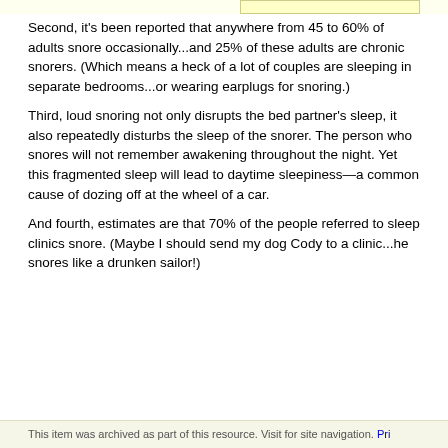Second, it's been reported that anywhere from 45 to 60% of adults snore occasionally...and 25% of these adults are chronic snorers. (Which means a heck of a lot of couples are sleeping in separate bedrooms...or wearing earplugs for snoring.)
Third, loud snoring not only disrupts the bed partner's sleep, it also repeatedly disturbs the sleep of the snorer. The person who snores will not remember awakening throughout the night. Yet this fragmented sleep will lead to daytime sleepiness—a common cause of dozing off at the wheel of a car.
And fourth, estimates are that 70% of the people referred to sleep clinics snore. (Maybe I should send my dog Cody to a clinic...he snores like a drunken sailor!)
This item was archived as part of this resource. Visit for site navigation. Pri...